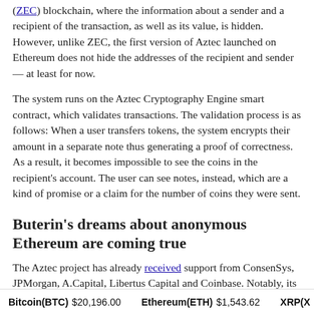(ZEC) blockchain, where the information about a sender and a recipient of the transaction, as well as its value, is hidden. However, unlike ZEC, the first version of Aztec launched on Ethereum does not hide the addresses of the recipient and sender — at least for now.
The system runs on the Aztec Cryptography Engine smart contract, which validates transactions. The validation process is as follows: When a user transfers tokens, the system encrypts their amount in a separate note thus generating a proof of correctness. As a result, it becomes impossible to see the coins in the recipient's account. The user can see notes, instead, which are a kind of promise or a claim for the number of coins they were sent.
Buterin's dreams about anonymous Ethereum are coming true
The Aztec project has already received support from ConsenSys, JPMorgan, A.Capital, Libertus Capital and Coinbase. Notably, its team is trying to make Vitalik Buterin's old dream come true. Earlier, the founder of Ethereum has repeatedly stated that he would like to implement private transactions in his brainchild. So far, it has been possible to achieve a certain degree of anonymity
Bitcoin(BTC) $20,196.00   Ethereum(ETH) $1,543.62   XRP(X...